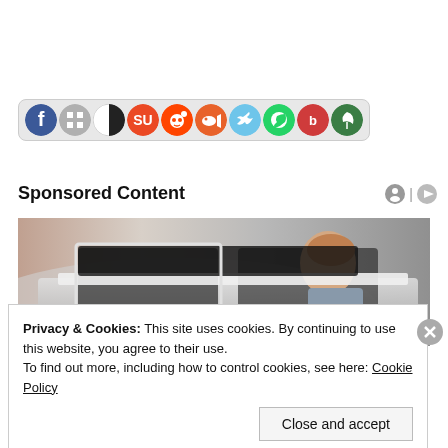[Figure (infographic): Social sharing icon bar with circular icons for Facebook, a grid icon, a black/white split circle (Delicious/Digg style), StumbleUpon, Reddit, a fish icon, a bird (Twitter-like), a green circle with phone, Bebo, and a leaf icon on a light grey pill-shaped background.]
Sponsored Content
[Figure (photo): A man leaning over and looking inside a car, inspecting it, viewed from outside the car. Background is blurred with dealership or garage setting.]
Privacy & Cookies: This site uses cookies. By continuing to use this website, you agree to their use.
To find out more, including how to control cookies, see here: Cookie Policy
Close and accept